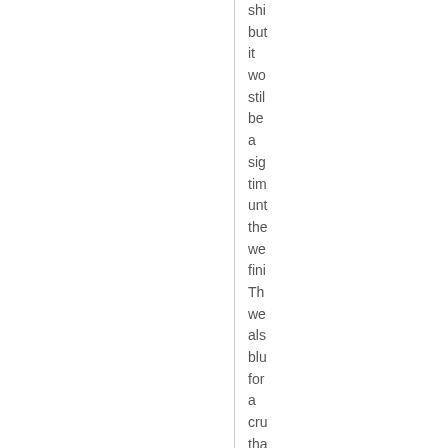shi but it wo stil be a sig tim unt the we fini Th we als blu for a cru tha wo act as the